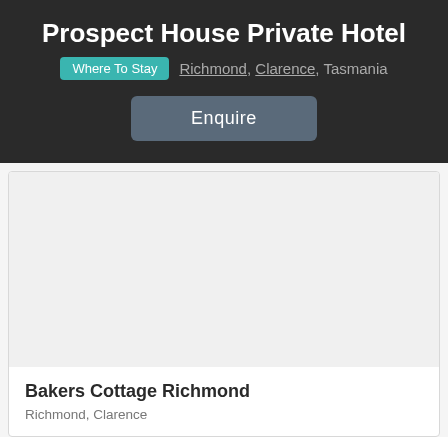Prospect House Private Hotel
Where To Stay  Richmond, Clarence, Tasmania
Enquire
[Figure (other): Blank/empty image placeholder for Bakers Cottage Richmond listing card]
Bakers Cottage Richmond
Richmond, Clarence